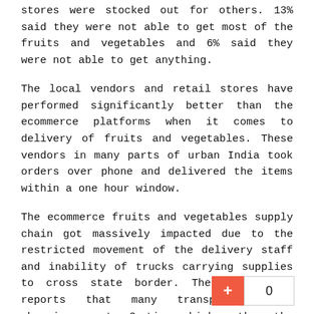stores were stocked out for others. 13% said they were not able to get most of the fruits and vegetables and 6% said they were not able to get anything.
The local vendors and retail stores have performed significantly better than the ecommerce platforms when it comes to delivery of fruits and vegetables. These vendors in many parts of urban India took orders over phone and delivered the items within a one hour window.
The ecommerce fruits and vegetables supply chain got massively impacted due to the restricted movement of the delivery staff and inability of trucks carrying supplies to cross state border. There are also reports that many transporters are charging up to 3 times higher than the usual price.